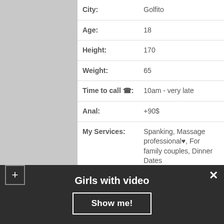| Field | Value |
| --- | --- |
| City: | Golfito |
| Age: | 18 |
| Height: | 170 |
| Weight: | 65 |
| Time to call ☎: | 10am - very late |
| Anal: | +90$ |
| My Services: | Spanking, Massage professional♥, For family couples, Dinner Dates |
| Sizes: | 89-56-88 |
| 30 min: | 80 |
| Ethnic Group: | Brazilian |
Girls with video
Show me!